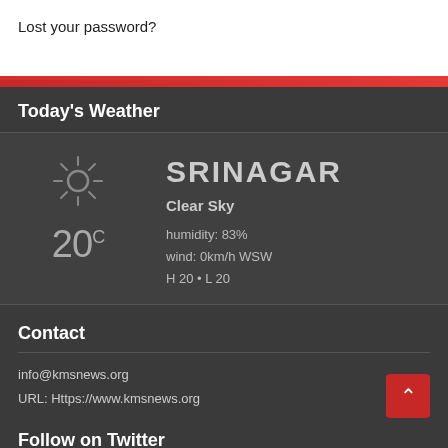Lost your password?
Today's Weather
[Figure (infographic): Weather widget showing sun icon, 20°C temperature, city SRINAGAR, Clear Sky, humidity 83%, wind 0km/h WSW, H 20 • L 20]
Contact
info@kmsnews.org
URL: Https://www.kmsnews.org
Follow on Twitter